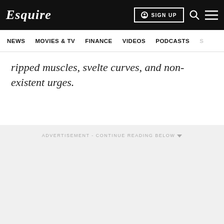Esquire | NEWS | MOVIES & TV | FINANCE | VIDEOS | PODCASTS | S | SIGN UP
ripped muscles, svelte curves, and non-existent urges.
ADVERTISEMENT - CONTINUE READING BELOW